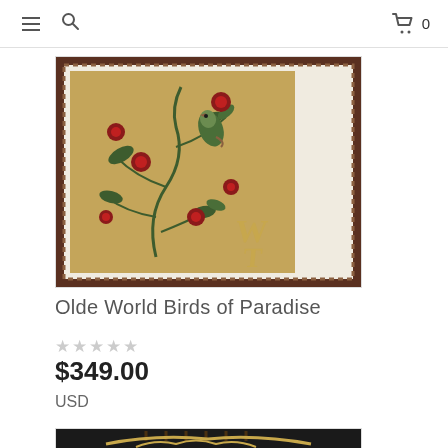Navigation header with hamburger menu, search icon, cart icon, and count 0
[Figure (photo): Tapestry product image: Olde World Birds of Paradise tapestry with golden/beige background, floral and bird motifs, dark border with diamond pattern. WT watermark logo visible in lower right.]
Olde World Birds of Paradise
★★★★★ (empty star rating)
$349.00
USD
[Figure (photo): Second product tapestry image — dark/black background with ornate golden scroll design at top, partially visible.]